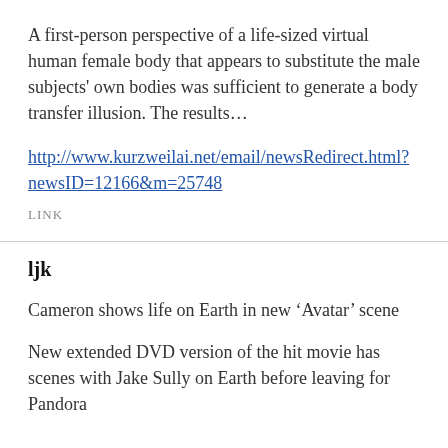A first-person perspective of a life-sized virtual human female body that appears to substitute the male subjects' own bodies was sufficient to generate a body transfer illusion. The results…
http://www.kurzweilai.net/email/newsRedirect.html?newsID=12166&m=25748
LINK
ljk
Cameron shows life on Earth in new 'Avatar' scene
New extended DVD version of the hit movie has scenes with Jake Sully on Earth before leaving for Pandora